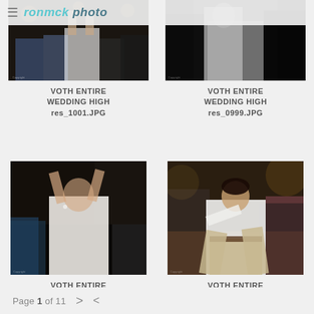≡ ronmck photo
[Figure (photo): Wedding reception scene with people dancing and celebrating, arms raised]
VOTH ENTIRE WEDDING HIGH res_1001.JPG
[Figure (photo): Black and white photo of bride in wedding dress at reception]
VOTH ENTIRE WEDDING HIGH res_0999.JPG
[Figure (photo): Bride in white dress dancing with arms raised, guests applauding around her at wedding reception]
VOTH ENTIRE WEDDING HIGH res_0998.JPG
[Figure (photo): Young boy in white shirt and khaki pants dancing enthusiastically at wedding reception]
VOTH ENTIRE WEDDING HIGH res_0994.JPG
Page 1 of 11  >  <